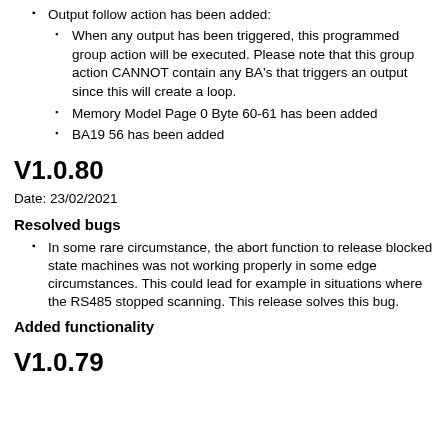Output follow action has been added:
When any output has been triggered, this programmed group action will be executed. Please note that this group action CANNOT contain any BA's that triggers an output since this will create a loop.
Memory Model Page 0 Byte 60-61 has been added
BA19 56 has been added
V1.0.80
Date: 23/02/2021
Resolved bugs
In some rare circumstance, the abort function to release blocked state machines was not working properly in some edge circumstances. This could lead for example in situations where the RS485 stopped scanning. This release solves this bug.
Added functionality
V1.0.79